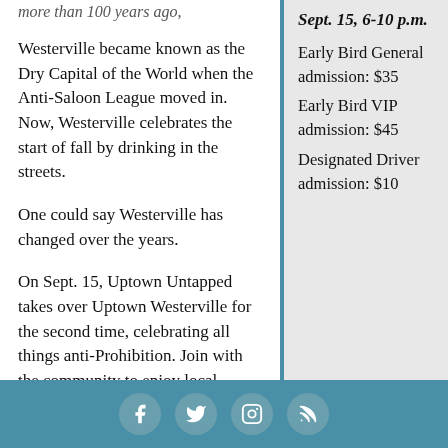more than 100 years ago, Westerville became known as the Dry Capital of the World when the Anti-Saloon League moved in. Now, Westerville celebrates the start of fall by drinking in the streets.

One could say Westerville has changed over the years.

On Sept. 15, Uptown Untapped takes over Uptown Westerville for the second time, celebrating all things anti-Prohibition. Join with the community to enjoy local musicians, support charitable organizations and drink like you're in a dry district; responsibly, of course.

Last year, Uptown Westerville Inc. wrangled nine local
Sept. 15, 6-10 p.m. Early Bird General admission: $35 Early Bird VIP admission: $45 Designated Driver admission: $10
Social media icons: Facebook, Twitter, Instagram, RSS